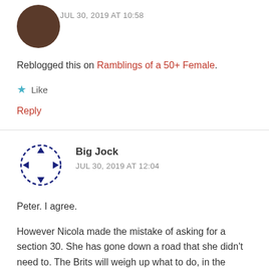JUL 30, 2019 AT 10:58
Reblogged this on Ramblings of a 50+ Female.
Like
Reply
Big Jock
JUL 30, 2019 AT 12:04
Peter. I agree.
However Nicola made the mistake of asking for a section 30. She has gone down a road that she didn't need to. The Brits will weigh up what to do, in the